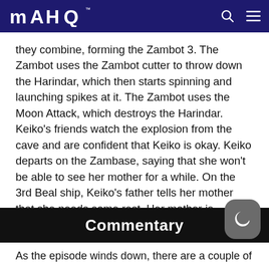MAHQ
they combine, forming the Zambot 3. The Zambot uses the Zambot cutter to throw down the Harindar, which then starts spinning and launching spikes at it. The Zambot uses the Moon Attack, which destroys the Harindar. Keiko's friends watch the explosion from the cave and are confident that Keiko is okay. Keiko departs on the Zambase, saying that she won't be able to see her mother for a while. On the 3rd Beal ship, Keiko's father tells her mother that she needs some rest. Her mother is working on sewing up the hole in Keiko's kimono.
Commentary
[cut off at bottom]